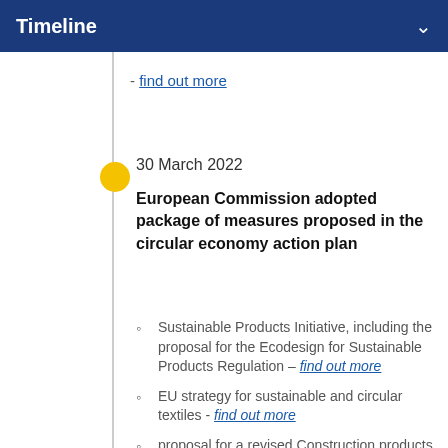Timeline
- find out more
30 March 2022
European Commission adopted package of measures proposed in the circular economy action plan
Sustainable Products Initiative, including the proposal for the Ecodesign for Sustainable Products Regulation – find out more
EU strategy for sustainable and circular textiles - find out more
proposal for a revised Construction products Regulation - find out more
proposal for empowering consumers in the green transition - find out more